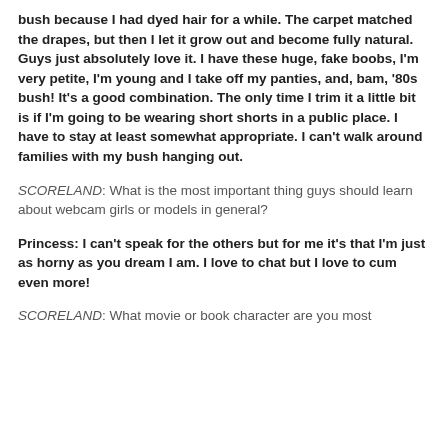bush because I had dyed hair for a while. The carpet matched the drapes, but then I let it grow out and become fully natural. Guys just absolutely love it. I have these huge, fake boobs, I'm very petite, I'm young and I take off my panties, and, bam, '80s bush! It's a good combination. The only time I trim it a little bit is if I'm going to be wearing short shorts in a public place. I have to stay at least somewhat appropriate. I can't walk around families with my bush hanging out.
SCORELAND: What is the most important thing guys should learn about webcam girls or models in general?
Princess: I can't speak for the others but for me it's that I'm just as horny as you dream I am. I love to chat but I love to cum even more!
SCORELAND: What movie or book character are you most